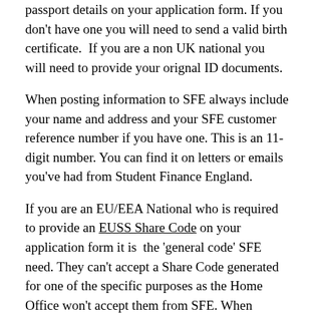passport details on your application form. If you don't have one you will need to send a valid birth certificate.  If you are a non UK national you will need to provide your orignal ID documents.
When posting information to SFE always include your name and address and your SFE customer reference number if you have one. This is an 11-digit number. You can find it on letters or emails you've had from Student Finance England.
If you are an EU/EEA National who is required to provide an EUSS Share Code on your application form it is  the 'general code' SFE need. They can't accept a Share Code generated for one of the specific purposes as the Home Office won't accept them from SFE. When presented with the options you just need to select 'another reason' which should generate the general code.
Other documents may be required depending on